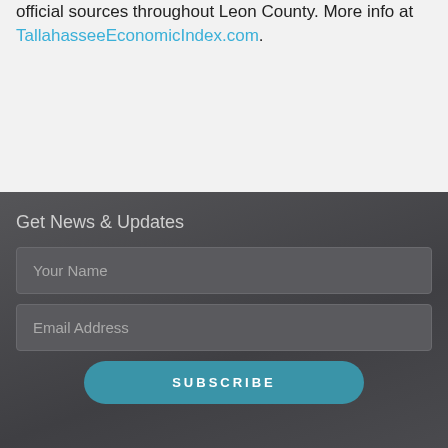official sources throughout Leon County. More info at TallahasseeEconomicIndex.com.
Get News & Updates
Your Name
Email Address
SUBSCRIBE